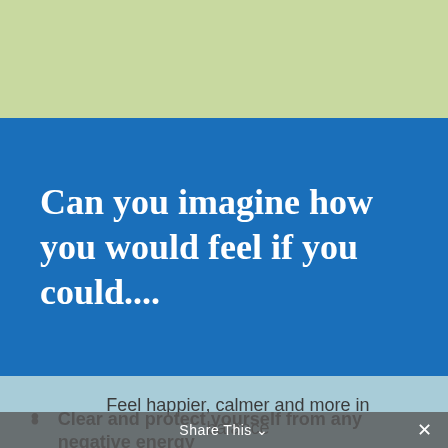[Figure (illustration): Light green decorative band at the top of the page]
Can you imagine how you would feel if you could....
Feel happier, calmer and more in balance
Clear and protect yourself from any negative energy
Share This ∨  ✕